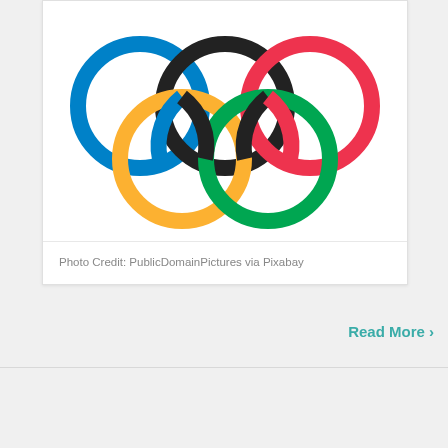[Figure (logo): Olympic rings logo showing five interlocking rings in blue, black, red, yellow, and green colors on a white background]
Photo Credit: PublicDomainPictures via Pixabay
Read More ›